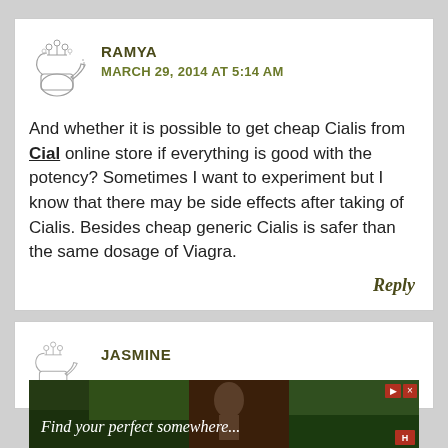RAMYA
MARCH 29, 2014 AT 5:14 AM
And whether it is possible to get cheap Cialis from Cial online store if everything is good with the potency? Sometimes I want to experiment but I know that there may be side effects after taking of Cialis. Besides cheap generic Cialis is safer than the same dosage of Viagra.
Reply
JASMINE
[Figure (photo): Advertisement banner: Find your perfect somewhere. Red/dark background with nature imagery.]